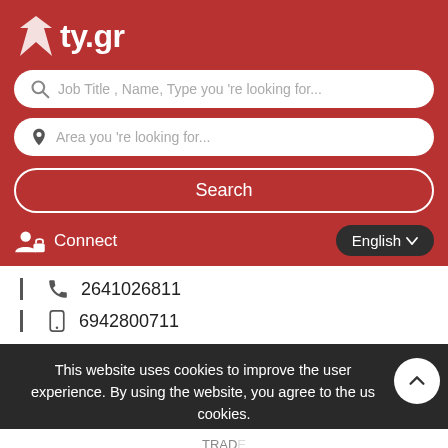[Figure (screenshot): City.gr website screenshot showing a job/business search interface with a red header, search fields, navigation, contact numbers, and a cookie consent banner with Agree button]
ty.gr
Job Title , Name, Type you 're looking for...
Area you 're looking for...
Search
Connect
English
2641026811
6942800711
This website uses cookies to improve the user experience. By using the website, you agree to the use of cookies.
TRADE
Brah- Ilia – Factory of Treatment Olive  ylia, Chalkidiki
Agree